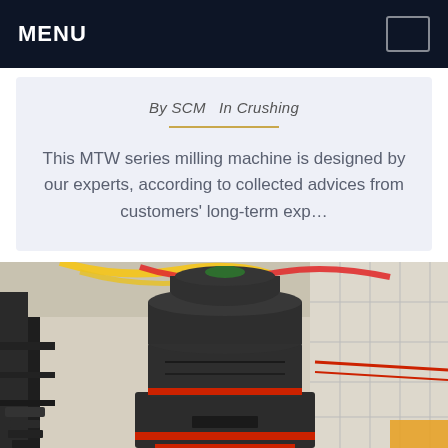MENU
By SCM   In Crushing
This MTW series milling machine is designed by our experts, according to collected advices from customers' long-term exp…
[Figure (photo): Photo of an MTW series milling machine, a large dark-colored industrial grinding mill, displayed inside a factory hall decorated with colorful streamers. The machine has a cylindrical top section, red accent bands, and complex mechanical base components.]